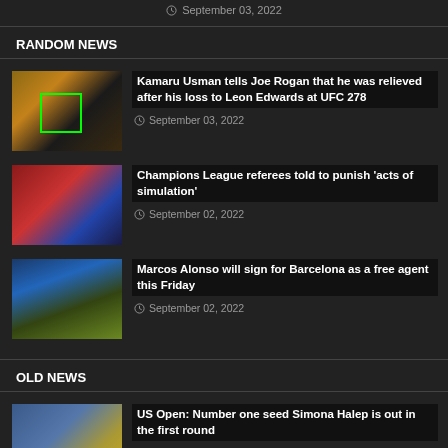September 03, 2022
RANDOM NEWS
Kamaru Usman tells Joe Rogan that he was relieved after his loss to Leon Edwards at UFC 278 — September 03, 2022
Champions League referees told to punish 'acts of simulation' — September 02, 2022
Marcos Alonso will sign for Barcelona as a free agent this Friday — September 02, 2022
OLD NEWS
US Open: Number one seed Simona Halep is out in the first round